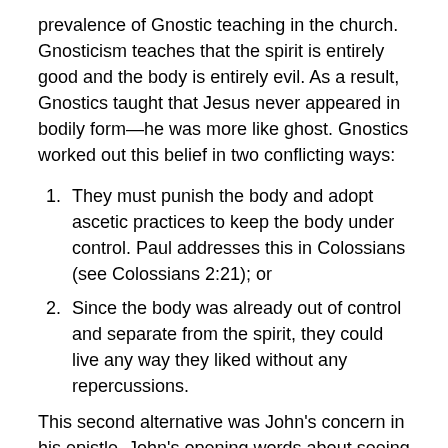prevalence of Gnostic teaching in the church. Gnosticism teaches that the spirit is entirely good and the body is entirely evil. As a result, Gnostics taught that Jesus never appeared in bodily form—he was more like ghost. Gnostics worked out this belief in two conflicting ways:
They must punish the body and adopt ascetic practices to keep the body under control. Paul addresses this in Colossians (see Colossians 2:21); or
Since the body was already out of control and separate from the spirit, they could live any way they liked without any repercussions.
This second alternative was John's concern in his epistle. John's opening words about seeing and touching Jesus were mentioned to prove that Jesus is both divine and human.